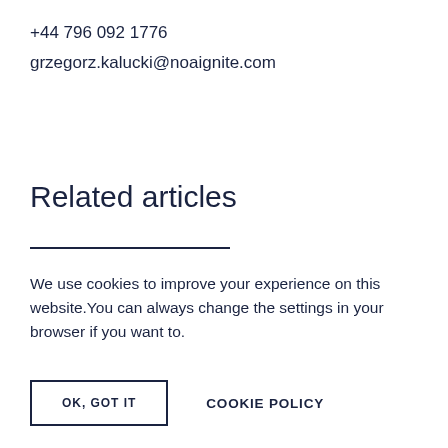+44 796 092 1776
grzegorz.kalucki@noaignite.com
Related articles
We use cookies to improve your experience on this website.You can always change the settings in your browser if you want to.
OK, GOT IT
COOKIE POLICY